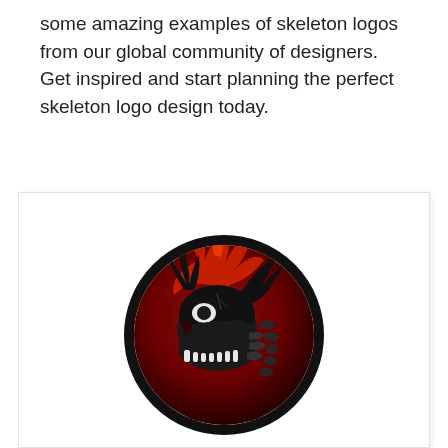some amazing examples of skeleton logos from our global community of designers. Get inspired and start planning the perfect skeleton logo design today.
[Figure (logo): A circular skeleton dragon logo with dark red and black coloring. The dragon skull and skeletal body are depicted inside a bold black circle, with flame-like shapes in deep red/crimson forming the background.]